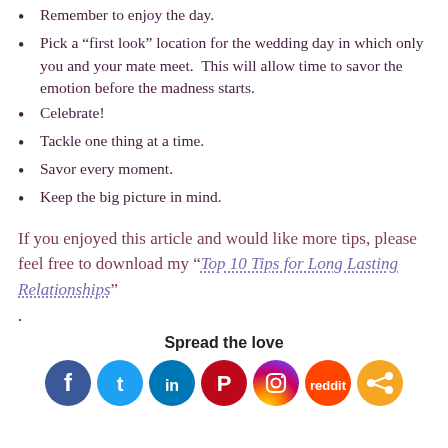Remember to enjoy the day.
Pick a “first look” location for the wedding day in which only you and your mate meet.  This will allow time to savor the emotion before the madness starts.
Celebrate!
Tackle one thing at a time.
Savor every moment.
Keep the big picture in mind.
If you enjoyed this article and would like more tips, please feel free to download my “Top 10 Tips for Long Lasting Relationships”
.
Spread the love
[Figure (other): Row of social media sharing icons: Facebook (blue), Twitter (light blue), LinkedIn (blue), Pinterest (red), Instagram (purple/gradient), Reddit (orange-red), Share (orange)]